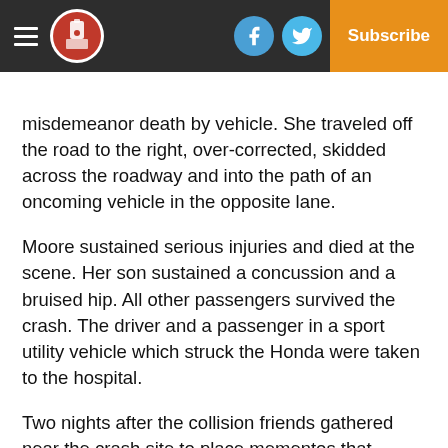Navigation header with logo, Facebook icon, Twitter icon, and Subscribe button
misdemeanor death by vehicle. She traveled off the road to the right, over-corrected, skidded across the roadway and into the path of an oncoming vehicle in the opposite lane.
Moore sustained serious injuries and died at the scene. Her son sustained a concussion and a bruised hip. All other passengers survived the crash. The driver and a passenger in a sport utility vehicle which struck the Honda were taken to the hospital.
Two nights after the collision friends gathered near the crash site to place mementos that reminded them of Moore, including a high heel and pictures, but also left balloons and other items.
Moore's mother, Carlandra, said it's too painful for